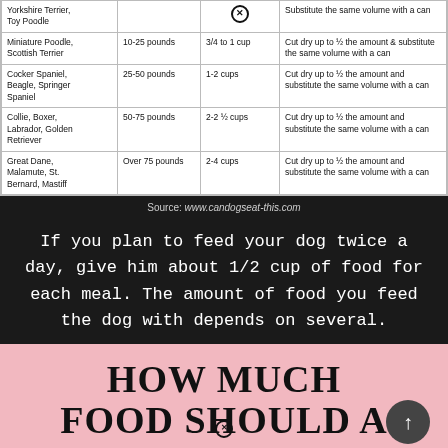| Breed | Weight | Daily Amount | Canned Food |
| --- | --- | --- | --- |
| Yorkshire Terrier, Toy Poodle |  | ✕ | Substitute the same volume with a can |
| Miniature Poodle, Scottish Terrier | 10-25 pounds | 3/4 to 1 cup | Cut dry up to ½ the amount & substitute the same volume with a can |
| Cocker Spaniel, Beagle, Springer Spaniel | 25-50 pounds | 1-2 cups | Cut dry up to ½ the amount and substitute the same volume with a can |
| Collie, Boxer, Labrador, Golden Retriever | 50-75 pounds | 2-2 ½ cups | Cut dry up to ½ the amount and substitute the same volume with a can |
| Great Dane, Malamute, St. Bernard, Mastiff | Over 75 pounds | 2-4 cups | Cut dry up to ½ the amount and substitute the same volume with a can |
Source: www.candogseat-this.com
If you plan to feed your dog twice a day, give him about 1/2 cup of food for each meal. The amount of food you feed the dog with depends on several.
[Figure (infographic): Pink background infographic section with large bold serif text reading 'HOW MUCH FOOD SHOULD A', a dark circle with up arrow in bottom right, and a circled X icon overlay]